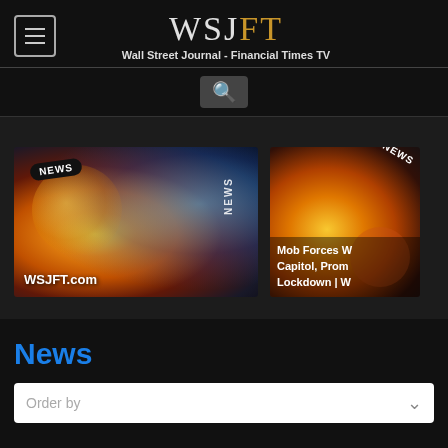WSJFT — Wall Street Journal - Financial Times TV
[Figure (screenshot): News thumbnail 1: globe with NEWS badge, WSJFT.com label, gold and blue glowing digital world imagery]
[Figure (screenshot): News thumbnail 2: financial news globe image, headline 'Mob Forces W Capitol, Prom Lockdown | W' partially visible]
News
Order by